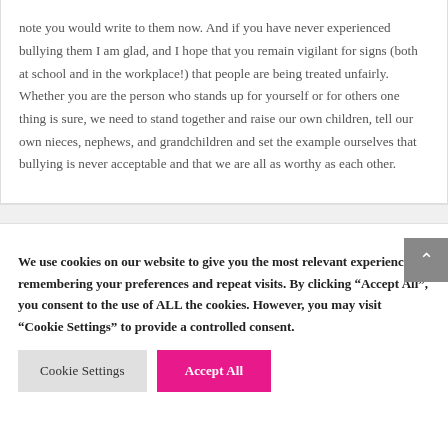note you would write to them now. And if you have never experienced bullying them I am glad, and I hope that you remain vigilant for signs (both at school and in the workplace!) that people are being treated unfairly. Whether you are the person who stands up for yourself or for others one thing is sure, we need to stand together and raise our own children, tell our own nieces, nephews, and grandchildren and set the example ourselves that bullying is never acceptable and that we are all as worthy as each other.
We use cookies on our website to give you the most relevant experience by remembering your preferences and repeat visits. By clicking "Accept All", you consent to the use of ALL the cookies. However, you may visit "Cookie Settings" to provide a controlled consent.